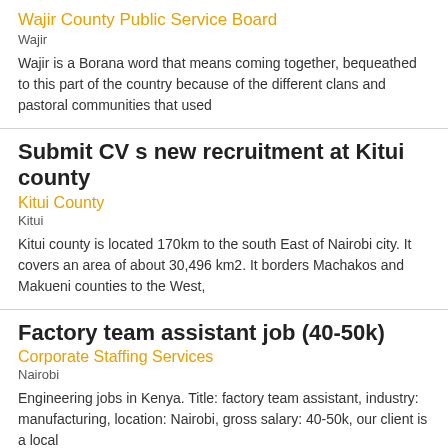Wajir County Public Service Board
Wajir
Wajir is a Borana word that means coming together, bequeathed to this part of the country because of the different clans and pastoral communities that used
Submit CV s new recruitment at Kitui county
Kitui County
Kitui
Kitui county is located 170km to the south East of Nairobi city. It covers an area of about 30,496 km2. It borders Machakos and Makueni counties to the West,
Factory team assistant job (40-50k)
Corporate Staffing Services
Nairobi
Engineering jobs in Kenya. Title: factory team assistant, industry: manufacturing, location: Nairobi, gross salary: 40-50k, our client is a local
Deputy director energy at Kitui county
Kitui County
Kitui
Kitui county is located 170km to the south East of Nairobi city. It covers an area of about 30,496 km2. It borders Machakos and Makueni counties to the West,